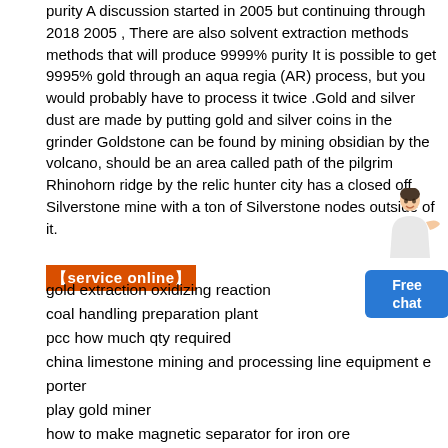purity A discussion started in 2005 but continuing through 2018 2005 , There are also solvent extraction methods methods that will produce 9999% purity It is possible to get 9995% gold through an aqua regia (AR) process, but you would probably have to process it twice .Gold and silver dust are made by putting gold and silver coins in the grinder Goldstone can be found by mining obsidian by the volcano, should be an area called path of the pilgrim Rhinohorn ridge by the relic hunter city has a closed off Silverstone mine with a ton of Silverstone nodes outside of it.
[Figure (illustration): A customer service chat widget showing a person figure and a blue button labeled 'Free chat']
【service online】
gold extraction oxidizing reaction
coal handling preparation plant
pcc how much qty required
china limestone mining and processing line equipment e porter
play gold miner
how to make magnetic separator for iron ore
crusher hammers manufacturers in ireland
coal crushers mills
used parker stationery stone crushing plant for sale